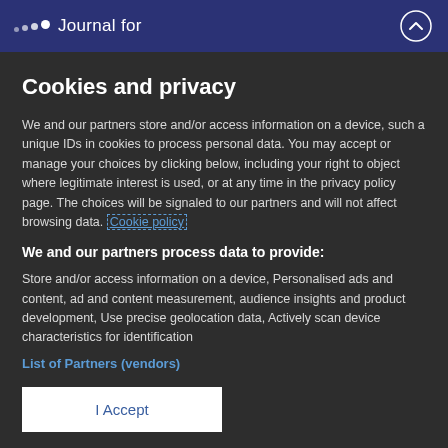Journal for
Cookies and privacy
We and our partners store and/or access information on a device, such a unique IDs in cookies to process personal data. You may accept or manage your choices by clicking below, including your right to object where legitimate interest is used, or at any time in the privacy policy page. These choices will be signaled to our partners and will not affect browsing data. Cookie policy
We and our partners process data to provide:
Store and/or access information on a device, Personalised ads and content, ad and content measurement, audience insights and product development, Use precise geolocation data, Actively scan device characteristics for identification
List of Partners (vendors)